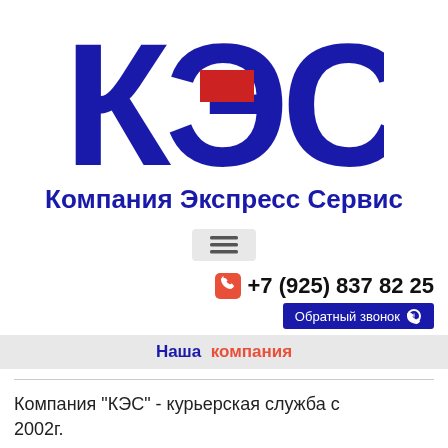[Figure (logo): КЭС logo — large bold dark blue Cyrillic letters К, Э, С with a red rectangle accent on the Э letter]
Компания Экспресс Сервис
[Figure (other): Hamburger menu button (three horizontal lines) on a light grey rounded rectangle background]
+7 (925) 837 82 25
Обратный звонок
Наша  компания
Компания "КЭС" - курьерская служба с 2002г.